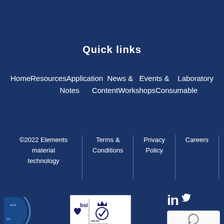Quick links
HomeResourcesApplication Notes   News & Content   Events & Workshops   Laboratory Consumables
©2022 Elements material technology
Terms & Conditions
Privacy Policy
Careers
[Figure (logo): Partial circular blue logo (Elements Materials) on left side]
[Figure (logo): BSI and UKAS certification logos in white box]
[Figure (logo): LinkedIn and Twitter social icons, plus reCAPTCHA widget]